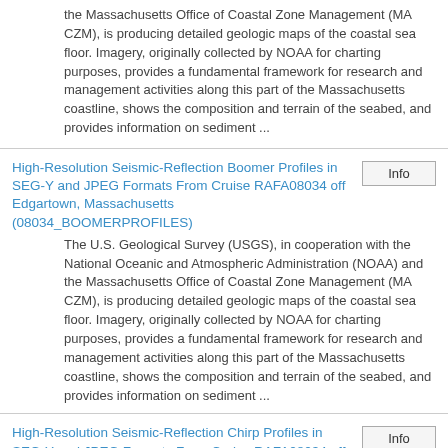the Massachusetts Office of Coastal Zone Management (MA CZM), is producing detailed geologic maps of the coastal sea floor. Imagery, originally collected by NOAA for charting purposes, provides a fundamental framework for research and management activities along this part of the Massachusetts coastline, shows the composition and terrain of the seabed, and provides information on sediment ...
High-Resolution Seismic-Reflection Boomer Profiles in SEG-Y and JPEG Formats From Cruise RAFA08034 off Edgartown, Massachusetts (08034_BOOMERPROFILES)
The U.S. Geological Survey (USGS), in cooperation with the National Oceanic and Atmospheric Administration (NOAA) and the Massachusetts Office of Coastal Zone Management (MA CZM), is producing detailed geologic maps of the coastal sea floor. Imagery, originally collected by NOAA for charting purposes, provides a fundamental framework for research and management activities along this part of the Massachusetts coastline, shows the composition and terrain of the seabed, and provides information on sediment ...
High-Resolution Seismic-Reflection Chirp Profiles in SEG-Y and JPEG Formats From Cruise RAFA08034 off Edgartown, Massachusetts (08034_KELPROFILES)